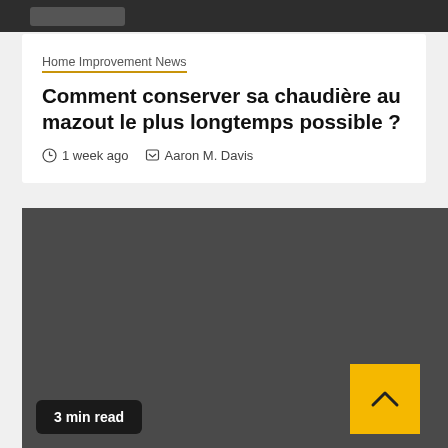Home Improvement News
Comment conserver sa chaudière au mazout le plus longtemps possible ?
1 week ago  Aaron M. Davis
[Figure (photo): Dark gray image block representing an article thumbnail photo with a '3 min read' badge and scroll-to-top button]